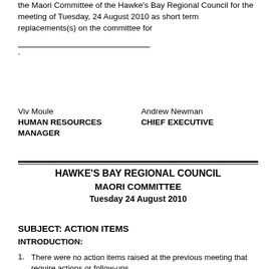the Maori Committee of the Hawke's Bay Regional Council for the meeting of Tuesday, 24 August 2010 as short term replacements(s) on the committee for
_____________________________.
Viv Moule
HUMAN RESOURCES MANAGER

Andrew Newman
CHIEF EXECUTIVE
HAWKE'S BAY REGIONAL COUNCIL
MAORI COMMITTEE
Tuesday 24 August 2010
SUBJECT: ACTION ITEMS
INTRODUCTION:
1. There were no action items raised at the previous meeting that require actions or follow-ups.